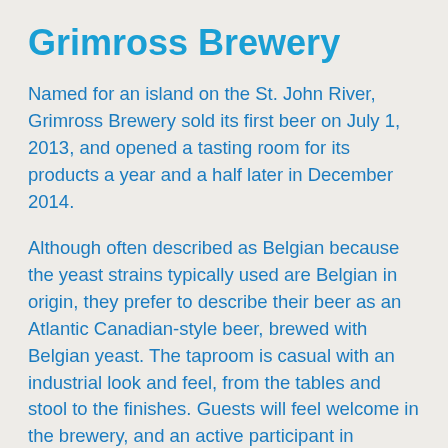Grimross Brewery
Named for an island on the St. John River, Grimross Brewery sold its first beer on July 1, 2013, and opened a tasting room for its products a year and a half later in December 2014.
Although often described as Belgian because the yeast strains typically used are Belgian in origin, they prefer to describe their beer as an Atlantic Canadian-style beer, brewed with Belgian yeast.  The taproom is casual with an industrial look and feel, from the tables and stool to the finishes. Guests will feel welcome in the brewery, and an active participant in the community as well. The 18 b